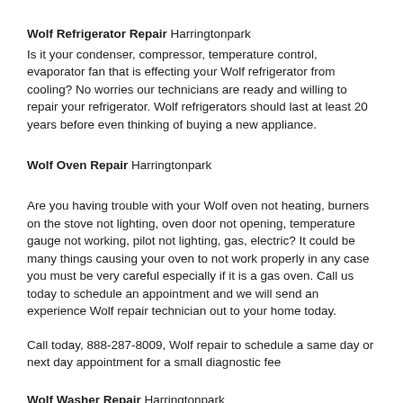Wolf Refrigerator Repair Harringtonpark
Is it your condenser, compressor, temperature control, evaporator fan that is effecting your Wolf refrigerator from cooling? No worries our technicians are ready and willing to repair your refrigerator. Wolf refrigerators should last at least 20 years before even thinking of buying a new appliance.
Wolf Oven Repair Harringtonpark
Are you having trouble with your Wolf oven not heating, burners on the stove not lighting, oven door not opening, temperature gauge not working, pilot not lighting, gas, electric? It could be many things causing your oven to not work properly in any case you must be very careful especially if it is a gas oven. Call us today to schedule an appointment and we will send an experience Wolf repair technician out to your home today.
Call today, 888-287-8009, Wolf repair to schedule a same day or next day appointment for a small diagnostic fee
Wolf Washer Repair Harringtonpark
Is your Wolf washer not spinning, making a loud noise, won't agitate, won't drain, vibrating too much, filling too slow, leaking water, won't start, overflowing, lid won't close, lid won't lock, or stopping mid-cycle? It could many things